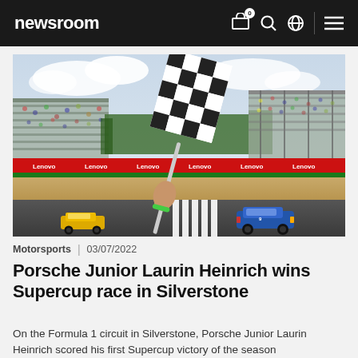newsroom
[Figure (photo): A checkered flag being waved at the finish line at Silverstone circuit. A blue Porsche racing car is crossing the finish line, with a yellow Porsche visible in the background. Packed grandstands and Lenovo sponsor banners are visible.]
Motorsports | 03/07/2022
Porsche Junior Laurin Heinrich wins Supercup race in Silverstone
On the Formula 1 circuit in Silverstone, Porsche Junior Laurin Heinrich scored his first Supercup victory of the season